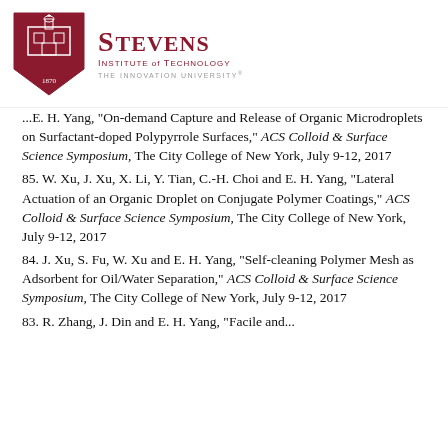[Figure (logo): Stevens Institute of Technology logo with shield and wordmark]
...E. H. Yang, "On-demand Capture and Release of Organic Microdroplets on Surfactant-doped Polypyrrole Surfaces," ACS Colloid & Surface Science Symposium, The City College of New York, July 9-12, 2017
85. W. Xu, J. Xu, X. Li, Y. Tian, C.-H. Choi and E. H. Yang, "Lateral Actuation of an Organic Droplet on Conjugate Polymer Coatings," ACS Colloid & Surface Science Symposium, The City College of New York, July 9-12, 2017
84. J. Xu, S. Fu, W. Xu and E. H. Yang, "Self-cleaning Polymer Mesh as Adsorbent for Oil/Water Separation," ACS Colloid & Surface Science Symposium, The City College of New York, July 9-12, 2017
83. R. Zhang, J. Din and E. H. Yang, "Facile and...